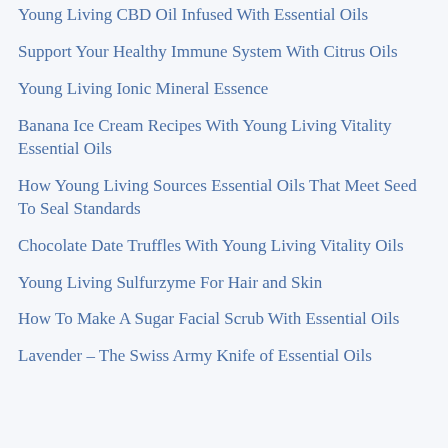Young Living CBD Oil Infused With Essential Oils
Support Your Healthy Immune System With Citrus Oils
Young Living Ionic Mineral Essence
Banana Ice Cream Recipes With Young Living Vitality Essential Oils
How Young Living Sources Essential Oils That Meet Seed To Seal Standards
Chocolate Date Truffles With Young Living Vitality Oils
Young Living Sulfurzyme For Hair and Skin
How To Make A Sugar Facial Scrub With Essential Oils
Lavender – The Swiss Army Knife of Essential Oils